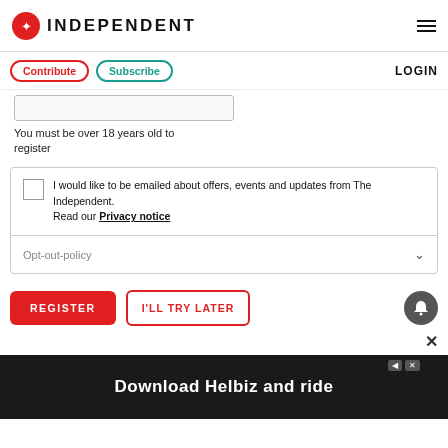INDEPENDENT
Contribute | Subscribe | LOGIN
You must be over 18 years old to register
I would like to be emailed about offers, events and updates from The Independent. Read our Privacy notice
Opt-out-policy
REGISTER
I'LL TRY LATER
[Figure (screenshot): Download Helbiz and ride advertisement banner at the bottom]
Download Helbiz and ride